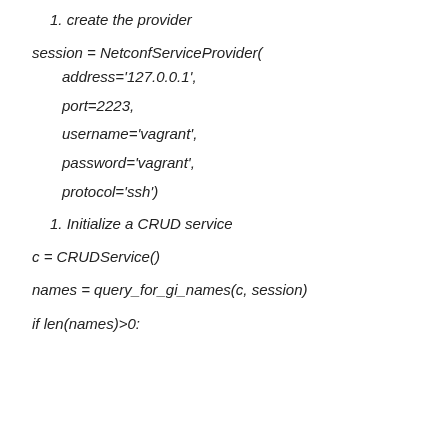1. create the provider
session = NetconfServiceProvider(
    address='127.0.0.1',
    port=2223,
    username='vagrant',
    password='vagrant',
    protocol='ssh')
1. Initialize a CRUD service
c = CRUDService()
names = query_for_gi_names(c, session)
if len(names)>0: